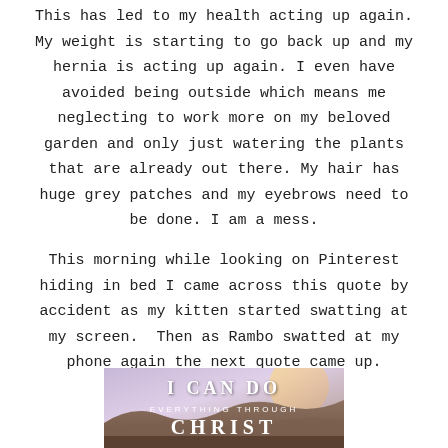This has led to my health acting up again. My weight is starting to go back up and my hernia is acting up again. I even have avoided being outside which means me neglecting to work more on my beloved garden and only just watering the plants that are already out there. My hair has huge grey patches and my eyebrows need to be done. I am a mess.
This morning while looking on Pinterest hiding in bed I came across this quote by accident as my kitten started swatting at my screen.  Then as Rambo swatted at my phone again the next quote came up.
[Figure (illustration): Inspirational quote image with landscape background showing hills and sky. Text reads: I CAN DO EVERYTHING THROUGH CHRIST in white lettering.]